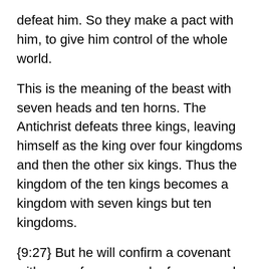defeat him. So they make a pact with him, to give him control of the whole world.
This is the meaning of the beast with seven heads and ten horns. The Antichrist defeats three kings, leaving himself as the king over four kingdoms and then the other six kings. Thus the kingdom of the ten kings becomes a kingdom with seven kings but ten kingdoms.
{9:27} But he will confirm a covenant with many for one week of years; and for half of the week of years, victim and sacrifice will nearly cease; but there will be in the temple the abomination of desolation. And the desolation will continue even to the consummation and the end."
The reign of the Antichrist lasts more than six years and less than seven years. During the second half of his reign, the false prophet associates his insidious mission of...